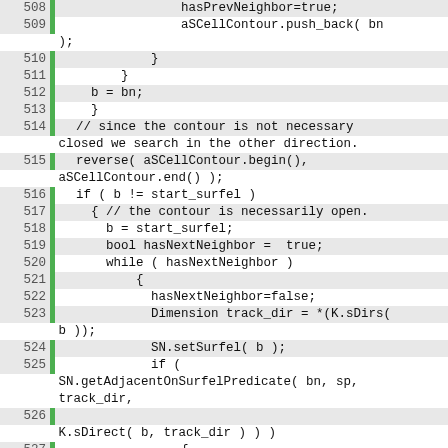Source code listing, lines 508-534
508     hasPrevNeighbor=true;
509     aSCellContour.push_back( bn );
510         }
511     }
512     b = bn;
513     }
514   // since the contour is not necessary closed we search in the other direction.
515   reverse( aSCellContour.begin(), aSCellContour.end() );
516   if ( b != start_surfel )
517     { // the contour is necessarily open.
518       b = start_surfel;
519       bool hasNextNeighbor =  true;
520       while ( hasNextNeighbor )
521           {
522             hasNextNeighbor=false;
523             Dimension track_dir = *(K.sDirs( b ));
524             SN.setSurfel( b );
525             if ( SN.getAdjacentOnSurfelPredicate( bn, sp, track_dir,
526             K.sDirect( b, track_dir ) ) )
527                 {
528                 aSCellContour.push_back( bn );
529                 hasNextNeighbor=true;
530                 }
531         b=bn;
532         }
533     }
534 }